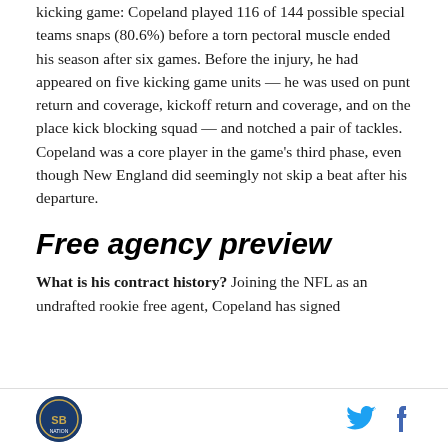kicking game: Copeland played 116 of 144 possible special teams snaps (80.6%) before a torn pectoral muscle ended his season after six games. Before the injury, he had appeared on five kicking game units — he was used on punt return and coverage, kickoff return and coverage, and on the place kick blocking squad — and notched a pair of tackles. Copeland was a core player in the game's third phase, even though New England did seemingly not skip a beat after his departure.
Free agency preview
What is his contract history? Joining the NFL as an undrafted rookie free agent, Copeland has signed